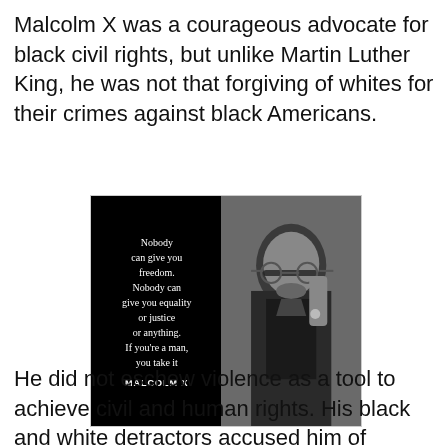Malcolm X was a courageous advocate for black civil rights, but unlike Martin Luther King, he was not that forgiving of whites for their crimes against black Americans.
[Figure (photo): Black and white photo of Malcolm X wearing glasses with a quote overlay: 'Nobody can give you freedom. Nobody can give you equality or justice or anything. If you're a man, you take it' attributed to MALCOLM X]
He did not eschew violence as a tool to achieve civil and human rights. His black and white detractors accused him of preaching racism and